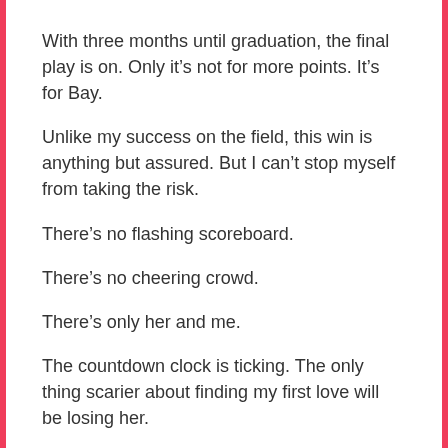With three months until graduation, the final play is on. Only it’s not for more points. It’s for Bay.
Unlike my success on the field, this win is anything but assured. But I can’t stop myself from taking the risk.
There’s no flashing scoreboard.
There’s no cheering crowd.
There’s only her and me.
The countdown clock is ticking. The only thing scarier about finding my first love will be losing her.
Check out the playlist on Spotify –
http://bit.ly/TAOFFY_1